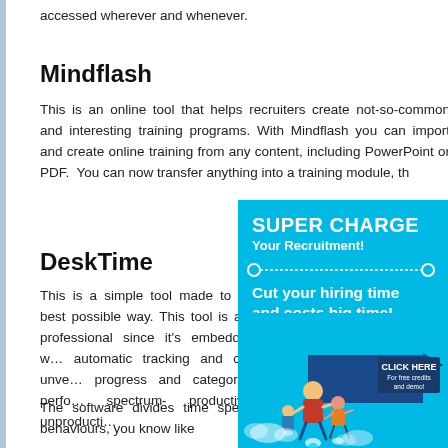accessed wherever and whenever.
Mindflash
This is an online tool that helps recruiters create not-so-common and interesting training programs. With Mindflash you can import and create online training from any content, including PowerPoint or PDF. You can now transfer anything into a training module, th…
DeskTime
This is a simple tool made to i… best possible way. This tool is a… professional since it's embedded w… automatic tracking and can unve… progress and categorize perfo… spectrum- productive, unproducti…
The software divides time spe… projects and by unproductive behaviours, you know like
[Figure (infographic): Advertisement banner with cyan background showing 'SUPER CHARGE Your Recruitment! Cut your hiring time and costs big time!' with a CLICK HERE button and illustration of people flying with jetpacks.]